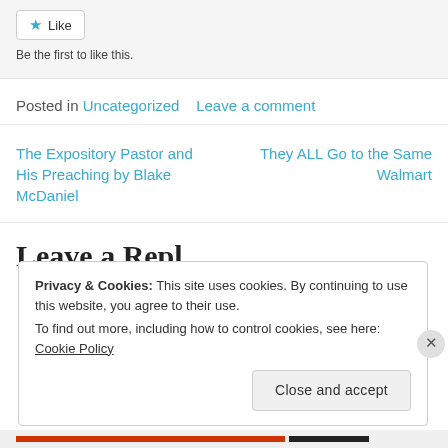[Figure (screenshot): Like button with star icon]
Be the first to like this.
Posted in Uncategorized   Leave a comment
The Expository Pastor and His Preaching by Blake McDaniel
They ALL Go to the Same Walmart
Leave a Reply (partial heading)
Privacy & Cookies: This site uses cookies. By continuing to use this website, you agree to their use.
To find out more, including how to control cookies, see here: Cookie Policy
Close and accept